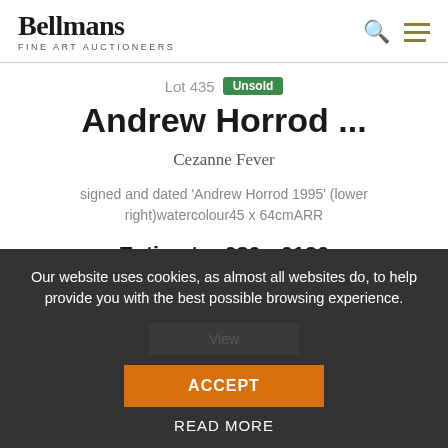Bellmans Fine Art Auctioneers
Lot 435 Unsold
Andrew Horrod ...
Cezanne Fever
signed and dated 'Andrew Horrod 1995' (lower right)watercolour45 x 64cmARR
Estimate: £80 - £120
22 April 2021
Our website uses cookies, as almost all websites do, to help provide you with the best possible browsing experience.
ACCEPT
READ MORE